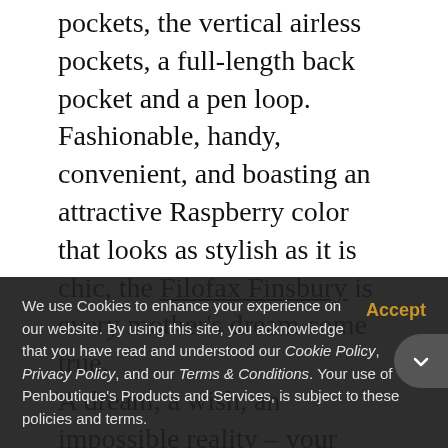pockets, the vertical airless pockets, a full-length back pocket and a pen loop. Fashionable, handy, convenient, and boasting an attractive Raspberry color that looks as stylish as it is chic, the Filofax Finsbury is every mother's dream come true. A dream, a wish, an impossible reality – your mother is a priceless treasure that deserves a little more than a slight tip of the hat this Mothers' Day. She also, believe it or not, deserves something a little more dear to the heart than some cold, empty jewel bracelet or necklace. She needs a gift that you feel proud giving her for the very fact that it is sincere and timeless. The...
We use Cookies to enhance your experience on our website. By using this site, you acknowledge that you have read and understood our Cookie Policy, Privacy Policy, and our Terms & Conditions. Your use of Penboutique's Products and Services, is subject to these policies and terms.